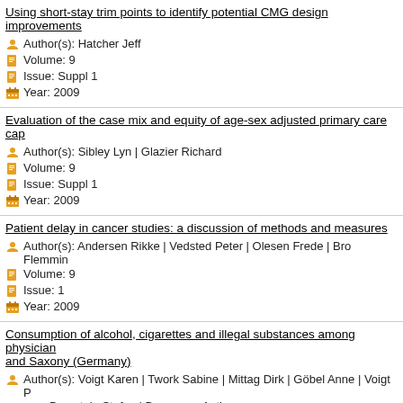Using short-stay trim points to identify potential CMG design improvements
Author(s): Hatcher Jeff
Volume: 9
Issue: Suppl 1
Year: 2009
Evaluation of the case mix and equity of age-sex adjusted primary care cap
Author(s): Sibley Lyn | Glazier Richard
Volume: 9
Issue: Suppl 1
Year: 2009
Patient delay in cancer studies: a discussion of methods and measures
Author(s): Andersen Rikke | Vedsted Peter | Olesen Frede | Bro Flemmin
Volume: 9
Issue: 1
Year: 2009
Consumption of alcohol, cigarettes and illegal substances among physician and Saxony (Germany)
Author(s): Voigt Karen | Twork Sabine | Mittag Dirk | Göbel Anne | Voigt P Bornstein Stefan | Bergmann Antje
Volume: 9
Issue: 1
Year: 2009
Preferences for treatment of Attention Deficit/Hyperactivity Disorder (ADHD